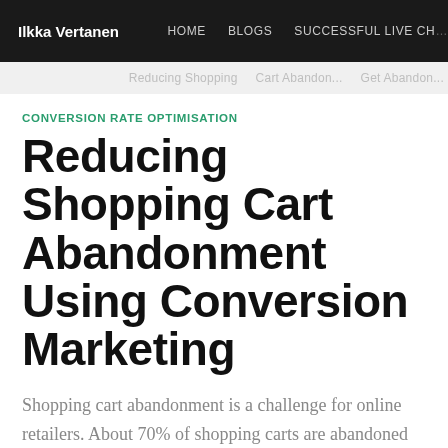Ilkka Vertanen | HOME | BLOGS | SUCCESSFUL LIVE CH...
CONVERSION RATE OPTIMISATION
Reducing Shopping Cart Abandonment Using Conversion Marketing
Shopping cart abandonment is a challenge for online retailers. About 70% of shopping carts are abandoned before checkout. There are two different approaches to the topic.